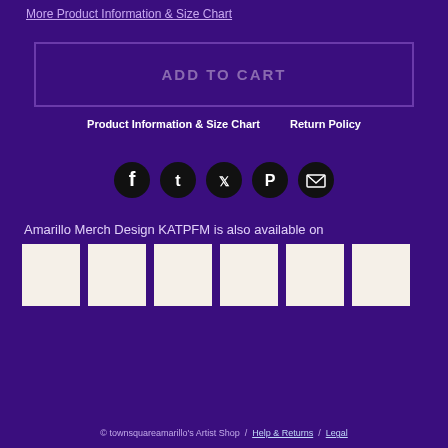More Product Information & Size Chart
ADD TO CART
Product Information & Size Chart    Return Policy
[Figure (infographic): Row of 5 social media icon buttons: Facebook, Tumblr, Twitter, Pinterest, Email — dark circular icons on purple background]
Amarillo Merch Design KATPFM is also available on
[Figure (infographic): Row of 6 white/cream product thumbnail squares representing available products on other platforms]
© townsquareamarillo's Artist Shop  /  Help & Returns  /  Legal